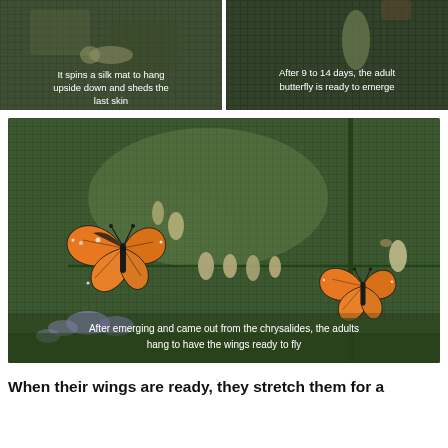[Figure (photo): Close-up of dark green mesh/net texture - caterpillar/pupa forming silk mat, top left panel]
It spins a silk mat to hang upside down and sheds the last skin
[Figure (photo): Monarch butterfly chrysalis on dark green mesh background, top right panel]
After 9 to 14 days, the adult butterfly is ready to emerge
[Figure (photo): Adult monarch butterflies hanging on green netting/mesh cage after emerging from chrysalides, with gardens visible in background]
After emerging and came out from the chrysalides, the adults hang to have the wings ready to fly
When their wings are ready, they stretch them for a